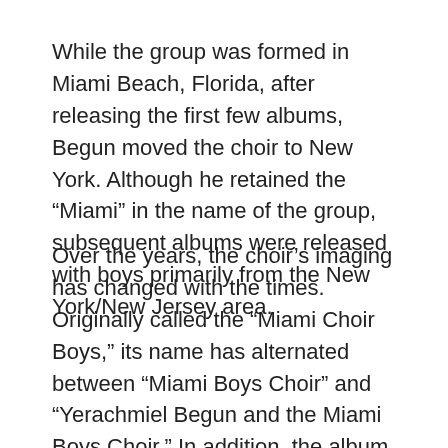While the group was formed in Miami Beach, Florida, after releasing the first few albums, Begun moved the choir to New York. Although he retained the “Miami” in the name of the group, subsequent albums were released with boys primarily from the New York/New Jersey area.
Over the years, the choir’s imaging has changed with the times. Originally called the “Miami Choir Boys,” its name has alternated between “Miami Boys Choir” and “Yerachmiel Begun and the Miami Boys Choir.” In addition, the album titles have slowly changed over time from just Hebrew titles (i.e., B’syata D’shamaya) to English and Hebrew together (e.g., Torah Today) and finally to the present format, which